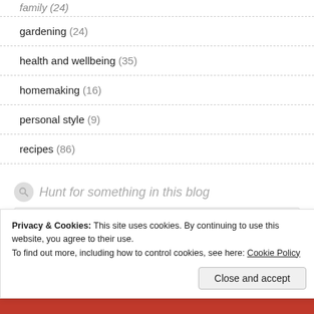family (24)
gardening (24)
health and wellbeing (35)
homemaking (16)
personal style (9)
recipes (86)
Hunt for something in this blog
Privacy & Cookies: This site uses cookies. By continuing to use this website, you agree to their use.
To find out more, including how to control cookies, see here: Cookie Policy
Close and accept